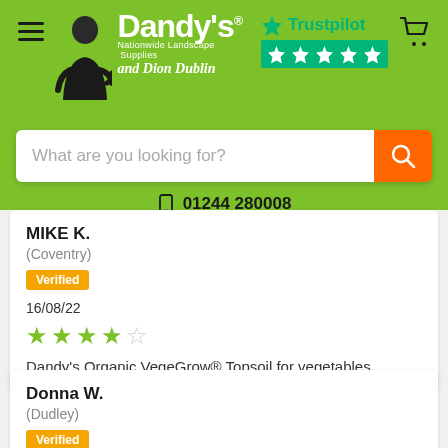[Figure (logo): Dandy's Nationwide Landscape Supplies with Dion Dublin logo on green background with Trustpilot 5-star rating]
What are you looking for?
01244 280008
MIKE K.
(Coventry)
Verified
16/08/22
4 out of 5 stars
Dandy's Organic VegeGrow® Topsoil for vegetables
Donna W.
(Dudley)
Verified
02/08/22